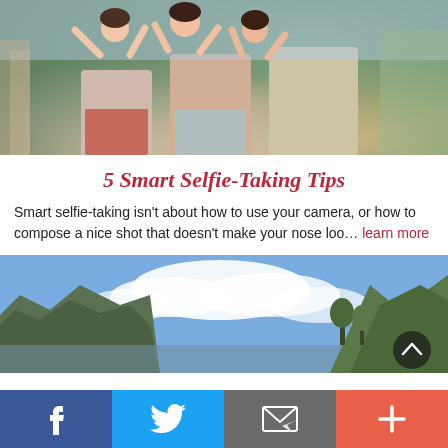[Figure (photo): Three young women posing outdoors with a coastal hillside town in the background. Two wear pink/coral tops, one wears a yellow/orange wrap.]
5 Smart Selfie-Taking Tips
Smart selfie-taking isn't about how to use your camera, or how to compose a nice shot that doesn't make your nose loo… learn more
[Figure (photo): Scenic coastal landscape with rocky cliffs on left, cloudy blue sky, trees and mountains in background. A scroll-to-top button overlay visible at bottom right.]
[Figure (infographic): Social sharing bar at the bottom with four buttons: Facebook (blue), Twitter (light blue), Email (gray), and More/Plus (red-orange).]